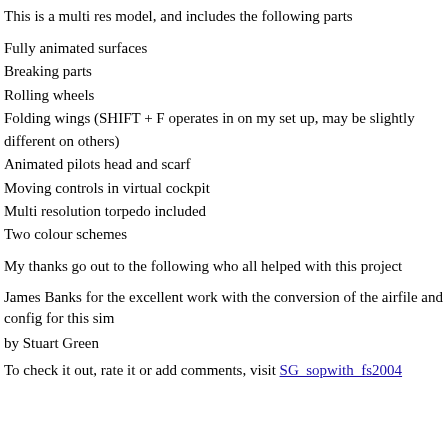This is a multi res model, and includes the following parts
Fully animated surfaces
Breaking parts
Rolling wheels
Folding wings (SHIFT + F operates in on my set up, may be slightly different on others)
Animated pilots head and scarf
Moving controls in virtual cockpit
Multi resolution torpedo included
Two colour schemes
My thanks go out to the following who all helped with this project
James Banks for the excellent work with the conversion of the airfile and config for this sim
by Stuart Green
To check it out, rate it or add comments, visit SG_sopwith_fs2004